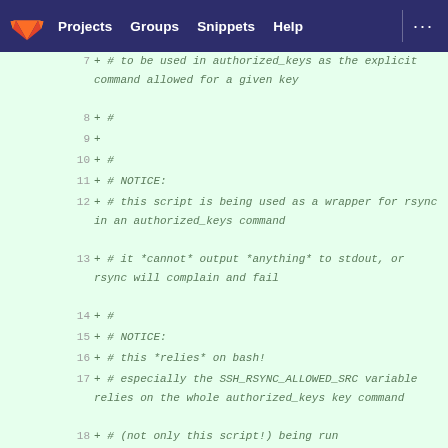GitLab navigation bar with Projects, Groups, Snippets, Help
[Figure (screenshot): GitLab code diff view showing lines 7-18 of a shell script with added lines (green), containing comments about authorized_keys, rsync wrapper notices, and SSH_RSYNC_ALLOWED_SRC variable documentation]
7  + # to be used in authorized_keys as the explicit command allowed for a given key
8  + #
9  +
10 + #
11 + # NOTICE:
12 + # this script is being used as a wrapper for rsync in an authorized_keys command
13 + # it *cannot* output *anything* to stdout, or rsync will complain and fail
14 + #
15 + # NOTICE:
16 + # this *relies* on bash!
17 + # especially the SSH_RSYNC_ALLOWED_SRC variable relies on the whole authorized_keys key command
18 + # (not only this script!) being run